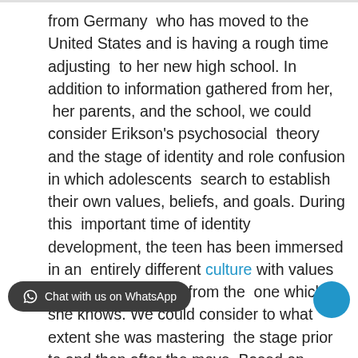from Germany  who has moved to the United States and is having a rough time adjusting  to her new high school. In addition to information gathered from her,  her parents, and the school, we could consider Erikson's psychosocial  theory and the stage of identity and role confusion in which adolescents  search to establish their own values, beliefs, and goals. During this  important time of identity development, the teen has been immersed in an  entirely different culture with values and beliefs different from the  one which she knows. We could consider to what extent she was mastering  the stage prior to and then after the move. Based on sociocultural  theory, we would enquire about the differences in culture that may be  impinging on her success in interacting in her new environment. By integrating the two theories, we can get a better